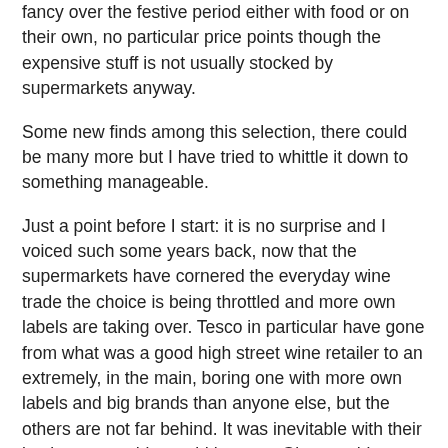fancy over the festive period either with food or on their own, no particular price points though the expensive stuff is not usually stocked by supermarkets anyway.
Some new finds among this selection, there could be many more but I have tried to whittle it down to something manageable.
Just a point before I start: it is no surprise and I voiced such some years back, now that the supermarkets have cornered the everyday wine trade the choice is being throttled and more own labels are taking over. Tesco in particular have gone from what was a good high street wine retailer to an extremely, in the main, boring one with more own labels and big brands than anyone else, but the others are not far behind. It was inevitable with their buying power this would happen. Given nothing to compare with, own labels are not inherently bad but do give the supermarkets the chance to price without comparison.
Firstly Waitrose, the last supermarket to still have a decent range of wines from individual growers. Starting with their